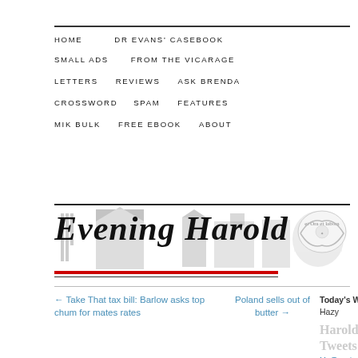HOME | DR EVANS' CASEBOOK | SMALL ADS | FROM THE VICARAGE | LETTERS | REVIEWS | ASK BRENDA | CROSSWORD | SPAM | FEATURES | MIK BULK | FREE EBOOK | ABOUT
[Figure (logo): Evening Harold newspaper masthead with gothic blackletter title and decorative crest illustration with silhouetted figures in the background]
← Take That tax bill: Barlow asks top chum for mates rates
Poland sells out of butter →
Today's Weather: Hazy
Harold Tweets…
My Tweets
Join the Harold commu on Faceb